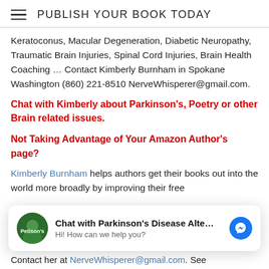PUBLISH YOUR BOOK TODAY
Keratoconus, Macular Degeneration, Diabetic Neuropathy, Traumatic Brain Injuries, Spinal Cord Injuries, Brain Health Coaching ... Contact Kimberly Burnham in Spokane Washington (860) 221-8510 NerveWhisperer@gmail.com.
Chat with Kimberly about Parkinson's, Poetry or other Brain related issues.
Not Taking Advantage of Your Amazon Author's page?
Kimberly Burnham helps authors get their books out into the world more broadly by improving their free
[Figure (screenshot): Chat widget overlay: 'Chat with Parkinson's Disease Alte...' with avatar, subtext 'Hi! How can we help you?' and Facebook Messenger icon]
blog (over 12,000 followers) Promotion packages start at $50. Contact her at NerveWhisperer@gmail.com. See